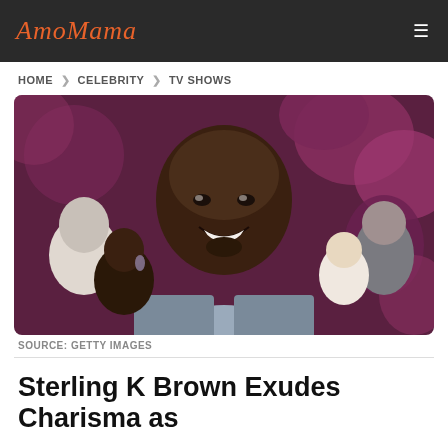AmoMama
HOME > CELEBRITY > TV SHOWS
[Figure (photo): Sterling K Brown smiling at a red carpet event, wearing a grey patterned shirt and blazer, with floral background and other attendees visible]
SOURCE: GETTY IMAGES
Sterling K Brown Exudes Charisma as